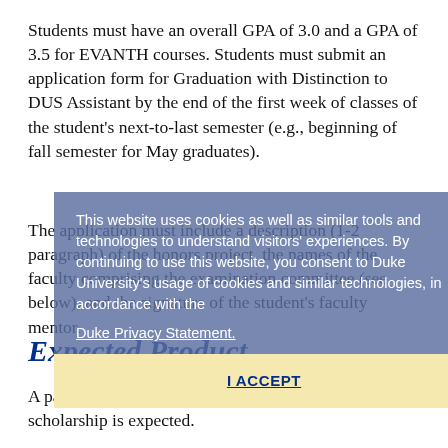Students must have an overall GPA of 3.0 and a GPA of 3.5 for EVANTH courses. Students must submit an application form for Graduation with Distinction to DUS Assistant by the end of the first week of classes of the student's next-to-last semester (e.g., beginning of fall semester for May graduates).
The application must include a description (1-2 paragraph) of the honors project, the names of the faculty comprising the examination committee (see below), and the signature of the student's faculty mentor.
Expected Product
A paper based on significant independent research or scholarship is expected.